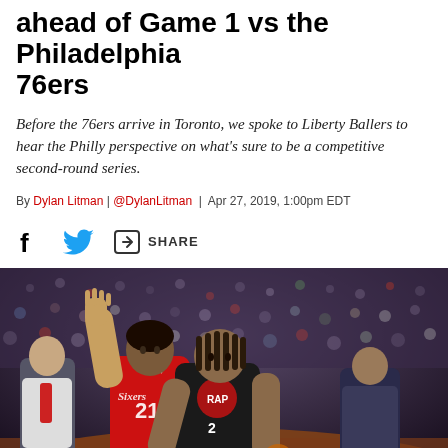ahead of Game 1 vs the Philadelphia 76ers
Before the 76ers arrive in Toronto, we spoke to Liberty Ballers to hear the Philly perspective on what's sure to be a competitive second-round series.
By Dylan Litman | @DylanLitman | Apr 27, 2019, 1:00pm EDT
[Figure (other): Social share icons: Facebook, Twitter, and a generic share icon with SHARE text]
[Figure (photo): Basketball game action photo showing a Philadelphia 76ers player (Joel Embiid, #21 in red Sixers jersey) defending against a Toronto Raptors player (Kawhi Leonard in black jersey) on the court, with crowd in background]